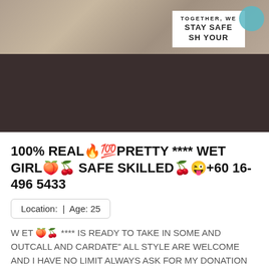[Figure (photo): Top portion of a listing page showing a dark background with a granite surface and a 'TOGETHER, WE STAY SAFE' sign in white, plus a teal circle badge on the right.]
100% REAL🔥💯PRETTY **** WET GIRL🍑🍒 SAFE SKILLED🍒😜+60 16-496 5433
Location: | Age: 25
W ET 🍑🍒 **** IS READY TO TAKE IN SOME AND OUTCALL AND CARDATE" ALL STYLE ARE WELCOME AND I HAVE NO LIMIT ALWAYS ASK FOR MY DONATION I'M READY TO ...
MORE »»
[Figure (photo): Bottom portion showing a light purple/lavender gradient background with an orange SP badge triangle in the top-right corner.]